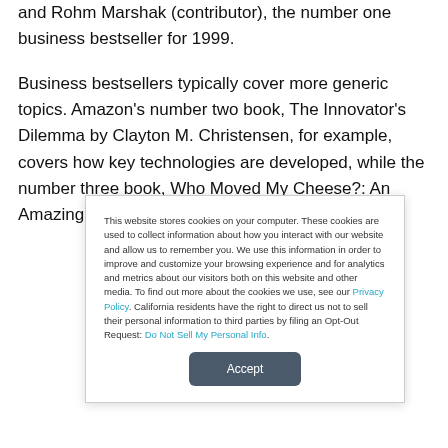and Rohm Marshak (contributor), the number one business bestseller for 1999.
Business bestsellers typically cover more generic topics. Amazon's number two book, The Innovator's Dilemma by Clayton M. Christensen, for example, covers how key technologies are developed, while the number three book, Who Moved My Cheese?: An Amazing Way to Deal With
This website stores cookies on your computer. These cookies are used to collect information about how you interact with our website and allow us to remember you. We use this information in order to improve and customize your browsing experience and for analytics and metrics about our visitors both on this website and other media. To find out more about the cookies we use, see our Privacy Policy. California residents have the right to direct us not to sell their personal information to third parties by filing an Opt-Out Request: Do Not Sell My Personal Info.